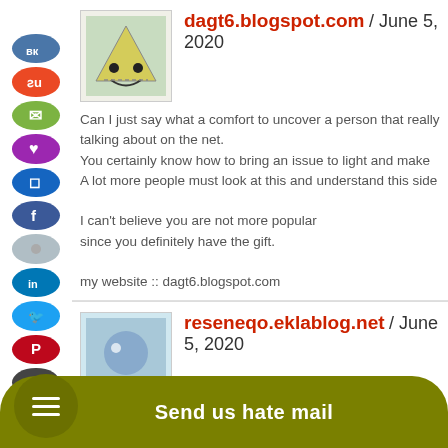[Figure (screenshot): Social media sharing sidebar with colored circular buttons: VK (blue), StumbleUpon (red), Evernote (green), Heart (purple), blue, Facebook (dark blue), grey, LinkedIn (blue), Twitter (light blue), Pinterest (red), print (dark), Google+ (red), Digg (dark)]
dagt6.blogspot.com / June 5, 2020
Can I just say what a comfort to uncover a person that really talking about on the net. You certainly know how to bring an issue to light and make A lot more people must look at this and understand this side. I can't believe you are not more popular since you definitely have the gift. my website :: dagt6.blogspot.com
reseneqo.eklablog.net / June 5, 2020
[Figure (screenshot): Bottom bar with hamburger menu circle and 'Send us hate mail' button in olive/dark yellow color]